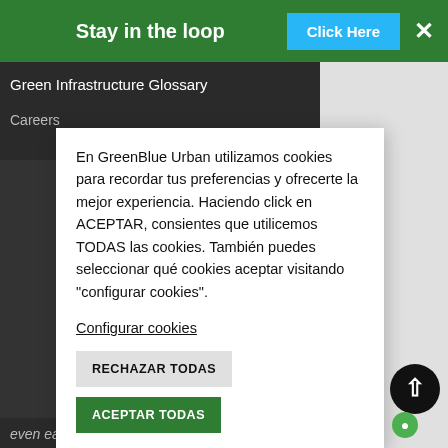Stay in the loop | Click Here | ×
Green Infrastructure Glossary
Careers
En GreenBlue Urban utilizamos cookies para recordar tus preferencias y ofrecerte la mejor experiencia. Haciendo click en ACEPTAR, consientes que utilicemos TODAS las cookies. También puedes seleccionar qué cookies aceptar visitando "configurar cookies".
Configurar cookies
RECHAZAR TODAS
ACEPTAR TODAS
even easier.